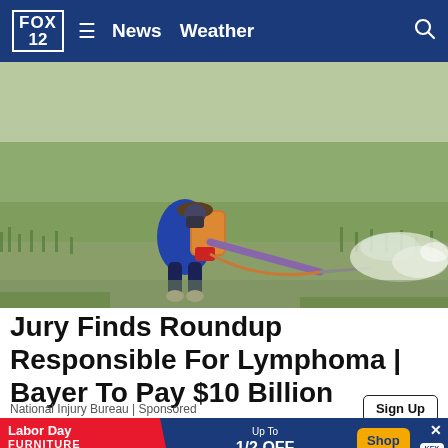FOX 12 News Weather
[Figure (photo): A farmer wearing a blue long-sleeve shirt, dark shorts, rubber boots, and a wide-brim hat with face covering, spraying pesticide/herbicide from a backpack sprayer in a flooded rice paddy field. Green rice shoots are visible in the muddy water, with a mist of white spray extending to the right.]
Jury Finds Roundup Responsible For Lymphoma | Bayer To Pay $10 Billion
National Injury Bureau | Sponsored
[Figure (infographic): Advertisement banner: Labor Day Furniture Sale - Up To 1/2 OFF Furniture Storewide! Shop Now! KEY logo.]